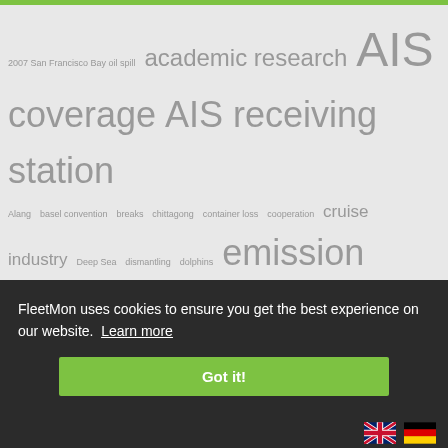[Figure (infographic): Tag cloud with maritime/shipping related terms in varying font sizes on a light gray background. Terms include: 2007 San Francisco Bay oil spill, academic research, AIS coverage, AIS receiving station, Alang, basel convention, breaks, chittagong, container loss, cooperation, cruise industry, Deep Sea, dismantling, dolphins, emission calculation, ETH, European Green Deal, freight loss, global supply chain, global trade, Green List, greenpeace, Hanse Sail, Hong Kong Convention, levantine sea, lost containers, Marine Mammals, maritime traffic, mobile, New York, pictures, project, Queen Mary, recycling, research partner, scientific, sea trade, shipwreck, shore-side electricity, shore power, site, tracking, Turkey]
FleetMon uses cookies to ensure you get the best experience on our website. Learn more
Got it!